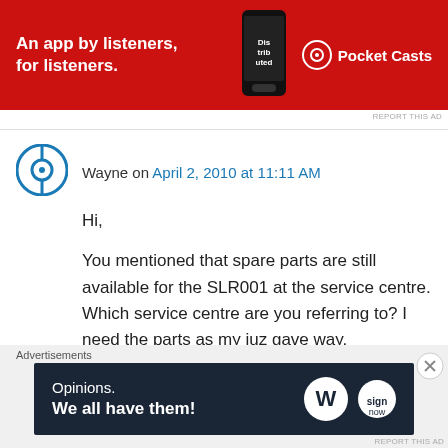[Figure (illustration): Pocket Casts advertisement banner: red background, white text 'An app by listeners, for listeners.' with Pocket Casts logo and phone image on the right.]
REPORT THIS AD
Wayne on April 2, 2010 at 11:11 AM
Hi,
You mentioned that spare parts are still available for the SLR001 at the service centre. Which service centre are you referring to? I need the parts as my juz gave way.
★ Like
↳ Reply
Advertisements
[Figure (illustration): WordPress advertisement: dark navy background, white text 'Opinions. We all have them!' with WordPress logo and another circular logo on the right.]
REPORT THIS AD